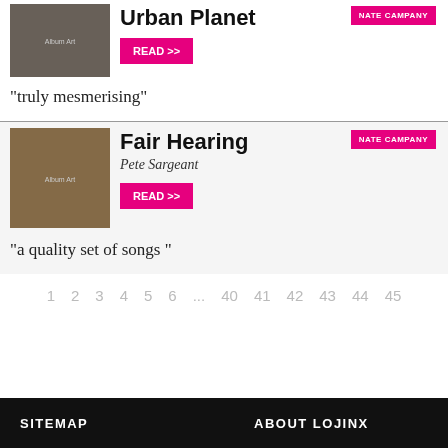Urban Planet
READ >>
"truly mesmerising"
Fair Hearing
Pete Sargeant
READ >>
"a quality set of songs "
1  2  3  4  5  6  ...  40  41  42  43  44  45
SITEMAP    ABOUT LOJINX